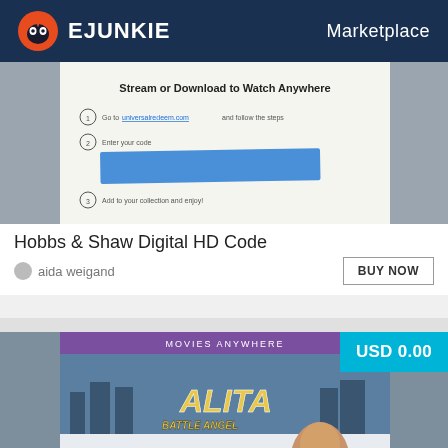EJUNKIE  Marketplace
[Figure (photo): Photo of a streaming/download code card for Hobbs & Shaw movie, showing partially obscured code with blue tape, text 'Stream or Download to Watch Anywhere']
Hobbs & Shaw Digital HD Code
aida weigand
[Figure (photo): Photo of Alita: Battle Angel digital movie code card, showing 'MOVIES ANYWHERE' branding, 'ALITA BATTLE ANGEL' movie title art with character, text 'Redeem your digital movie code.' and a blue tape partially obscuring the code]
USD 0.00
Alita: Battle Angel Digital HD Code
aida weigand